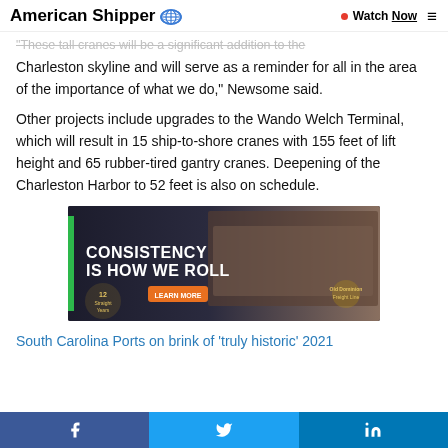American Shipper | Watch Now
"These tall cranes will be a significant addition to the Charleston skyline and will serve as a reminder for all in the area of the importance of what we do," Newsome said.
Other projects include upgrades to the Wando Welch Terminal, which will result in 15 ship-to-shore cranes with 155 feet of lift height and 65 rubber-tired gantry cranes. Deepening of the Charleston Harbor to 52 feet is also on schedule.
[Figure (photo): Advertisement for Old Dominion Freight Line: dark background with truck image, text reads 'CONSISTENCY IS HOW WE ROLL', orange LEARN MORE button, 12 Straight Years award badge.]
South Carolina Ports on brink of 'truly historic' 2021
Facebook share | Twitter share | LinkedIn share